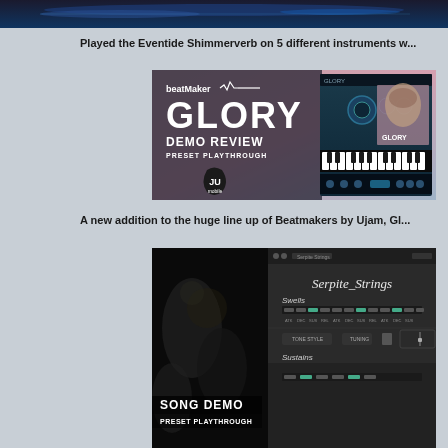[Figure (screenshot): Dark blue/teal banner image at top of page, appears to be a music plugin or audio interface screenshot]
Played the Eventide Shimmerverb on 5 different instruments w...
[Figure (screenshot): BeatMaker GLORY Demo Review Preset Playthrough promotional image - shows GLORY synthesizer plugin interface with large white text on dark/pink background, JU Mobile guitar pick logo]
A new addition to the huge line up of Beatmakers by Ujam, Gl...
[Figure (screenshot): Song Demo Preset Playthrough image showing Serpite Strings plugin interface, dark themed DAW screenshot with string instrument controls, Swells and Sustains sections visible]